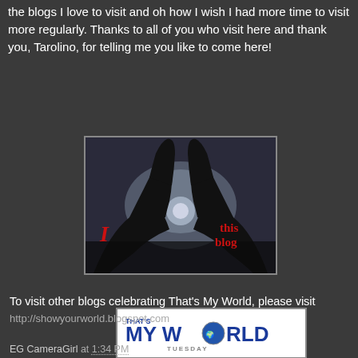the blogs I love to visit and oh how I wish I had more time to visit more regularly. Thanks to all of you who visit here and thank you, Tarolino, for telling me you like to come here!
[Figure (illustration): An 'I love this blog' image showing two hands forming a heart shape silhouetted against a cloudy sky, with red text reading 'I' on the left and 'this blog' on the right]
[Figure (illustration): That's My World Tuesday meme banner/logo image with colorful text on a white background]
To visit other blogs celebrating That's My World, please visit http://showyourworld.blogspot.com
EG CameraGirl at 1:34 PM